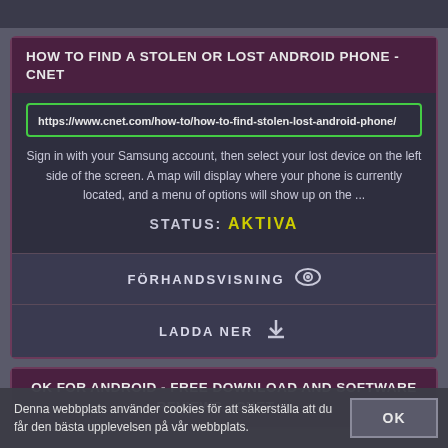HOW TO FIND A STOLEN OR LOST ANDROID PHONE - CNET
https://www.cnet.com/how-to/how-to-find-stolen-lost-android-phone/
Sign in with your Samsung account, then select your lost device on the left side of the screen. A map will display where your phone is currently located, and a menu of options will show up on the ...
STATUS: AKTIVA
FÖRHANDSVISNING
LADDA NER
OK FOR ANDROID - FREE DOWNLOAD AND SOFTWARE REVIEWS - CNET ...
Denna webbplats använder cookies för att säkerställa att du får den bästa upplevelsen på vår webbplats.